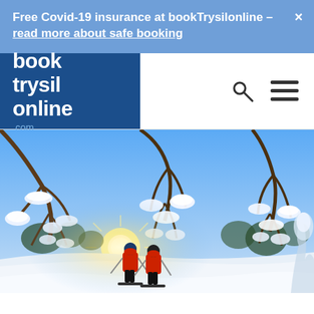Free Covid-19 insurance at bookTrysilonline – read more about safe booking ×
[Figure (logo): bookTrysilonline.com logo — white bold text on dark blue background]
[Figure (photo): Two skiers in red jackets skiing through a snowy winter forest with snow-laden tree branches in the foreground and sunlight breaking through, blue sky background]